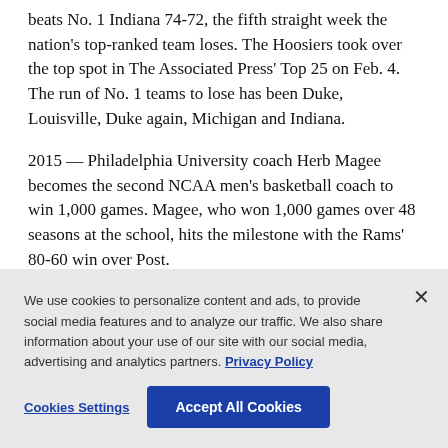beats No. 1 Indiana 74-72, the fifth straight week the nation's top-ranked team loses. The Hoosiers took over the top spot in The Associated Press' Top 25 on Feb. 4. The run of No. 1 teams to lose has been Duke, Louisville, Duke again, Michigan and Indiana.
2015 — Philadelphia University coach Herb Magee becomes the second NCAA men's basketball coach to win 1,000 games. Magee, who won 1,000 games over 48 seasons at the school, hits the milestone with the Rams' 80-60 win over Post.
We use cookies to personalize content and ads, to provide social media features and to analyze our traffic. We also share information about your use of our site with our social media, advertising and analytics partners. Privacy Policy